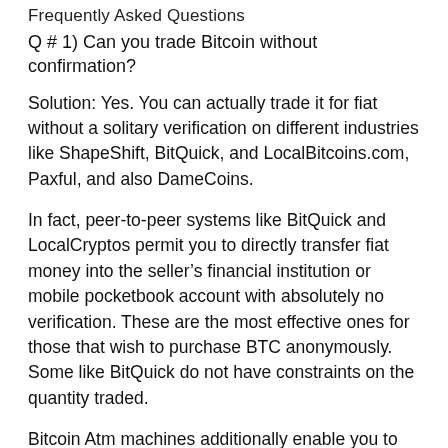Frequently Asked Questions
Q # 1) Can you trade Bitcoin without confirmation?
Solution: Yes. You can actually trade it for fiat without a solitary verification on different industries like ShapeShift, BitQuick, and LocalBitcoins.com, Paxful, and also DameCoins.
In fact, peer-to-peer systems like BitQuick and LocalCryptos permit you to directly transfer fiat money into the seller’s financial institution or mobile pocketbook account with absolutely no verification. These are the most effective ones for those that wish to purchase BTC anonymously. Some like BitQuick do not have constraints on the quantity traded.
Bitcoin Atm machines additionally enable you to get Bitcoin anonymously with cash.